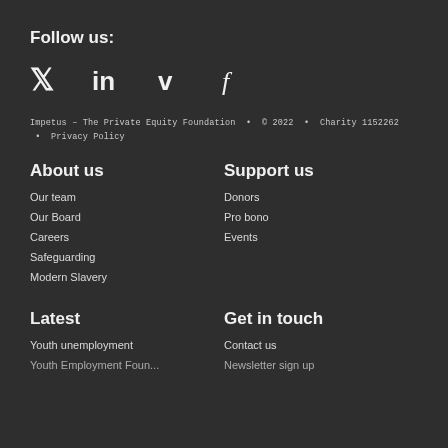Follow us:
[Figure (illustration): Social media icons: Twitter (bird), LinkedIn (in), Vimeo (V), Facebook (f)]
Impetus – The Private Equity Foundation • © 2022 • Charity 1152262 • Privacy Policy
About us
Support us
Our team
Donors
Our Board
Pro bono
Careers
Events
Safeguarding
Modern Slavery
Latest
Get in touch
Youth unemployment
Contact us